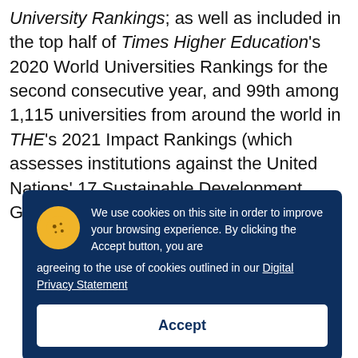University Rankings; as well as included in the top half of Times Higher Education's 2020 World Universities Rankings for the second consecutive year, and 99th among 1,115 universities from around the world in THE's 2021 Impact Rankings (which assesses institutions against the United Nations' 17 Sustainable Development Goals).
[Figure (screenshot): Cookie consent overlay on a dark navy blue background with a cookie icon, text about cookie usage, a link to Digital Privacy Statement, and an Accept button.]